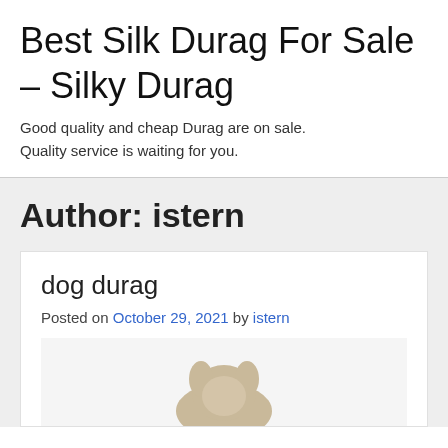Best Silk Durag For Sale – Silky Durag
Good quality and cheap Durag are on sale. Quality service is waiting for you.
Author: istern
dog durag
Posted on October 29, 2021 by istern
[Figure (photo): Photo of a dog wearing a durag, partially visible at bottom of card]